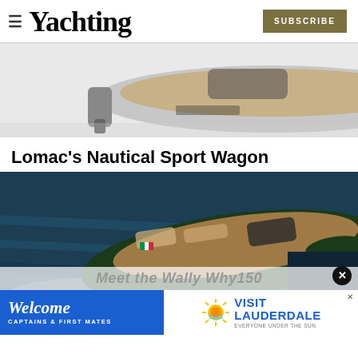Yachting | SUBSCRIBE
[Figure (photo): Partial top-down render of a Lomac boat with outboard motor, viewed from above and behind, with wooden deck details visible]
Lomac's Nautical Sport Wagon
[Figure (photo): Aerial view of a dark green Lomac sport boat with Italian flag on the bow, cruising through choppy blue water, with teak deck and sunbathing areas visible]
Meet the Wally Why150
[Figure (other): Advertisement banner: 'Welcome CAPTAINS & FIRST MATES' on blue background on left; 'VISIT LAUDERDALE EVERYONE UNDER THE SUN' with sun logo on white background on right]